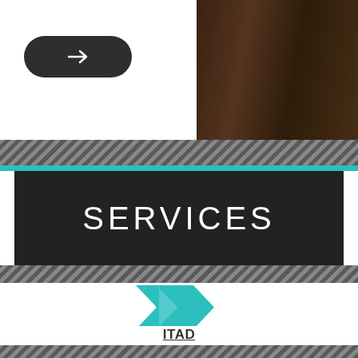[Figure (photo): Top section: white overlay on left with dark rounded arrow button, brown/dark workspace photo visible on right]
SERVICES
[Figure (illustration): Teal double chevron/arrow icon pointing right, above ITAD label]
ITAD
[Figure (illustration): Teal double chevron/arrow icon pointing right, above Asset Management label]
Asset Management